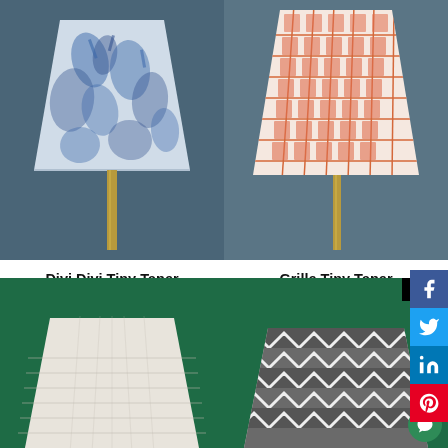[Figure (photo): Divi Divi Tiny Taper Lampshade (Sky Blue) - blue floral coral pattern lampshade on gold stand against dark teal background]
Divi Divi Tiny Taper Lampshade (Sky Blue)
Rs. 1,580
[Figure (photo): Grille Tiny Taper Lampshade (Soft Pink) - orange/pink grid pattern lampshade on gold stand against dark teal background]
Grille Tiny Taper Lampshade (Soft Pink)
Rs. 1,580
[Figure (photo): Lampshade with white/cream textured pattern on dark green background - partial view]
[Figure (photo): Lampshade with grey and white zigzag/chevron pattern on dark green background - partial view, NEW badge]